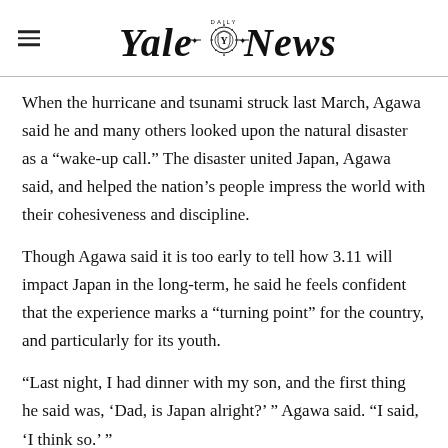Yale Daily News
When the hurricane and tsunami struck last March, Agawa said he and many others looked upon the natural disaster as a “wake-up call.” The disaster united Japan, Agawa said, and helped the nation’s people impress the world with their cohesiveness and discipline.
Though Agawa said it is too early to tell how 3.11 will impact Japan in the long-term, he said he feels confident that the experience marks a “turning point” for the country, and particularly for its youth.
“Last night, I had dinner with my son, and the first thing he said was, ‘Dad, is Japan alright?’ ” Agawa said. “I said, ‘I think so.’ ”